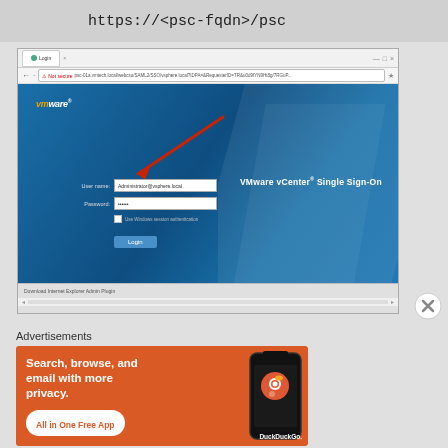https://<psc-fqdn>/psc
[Figure (screenshot): Browser screenshot showing VMware vCenter Single Sign-On login page with Administrator@vsphere.local username pre-filled, a red arrow pointing to the username field]
Advertisements
[Figure (advertisement): DuckDuckGo advertisement banner with text 'Search, browse, and email with more privacy. All in One Free App' on orange background with phone graphic]